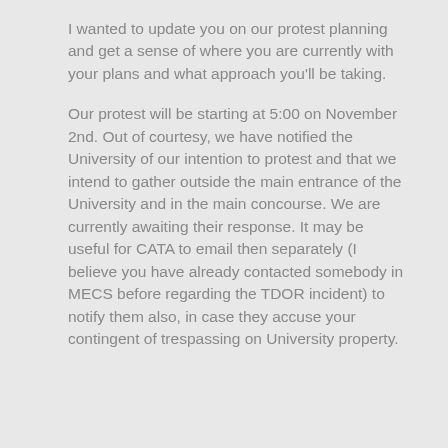I wanted to update you on our protest planning and get a sense of where you are currently with your plans and what approach you'll be taking.
Our protest will be starting at 5:00 on November 2nd. Out of courtesy, we have notified the University of our intention to protest and that we intend to gather outside the main entrance of the University and in the main concourse. We are currently awaiting their response. It may be useful for CATA to email then separately (I believe you have already contacted somebody in MECS before regarding the TDOR incident) to notify them also, in case they accuse your contingent of trespassing on University property.